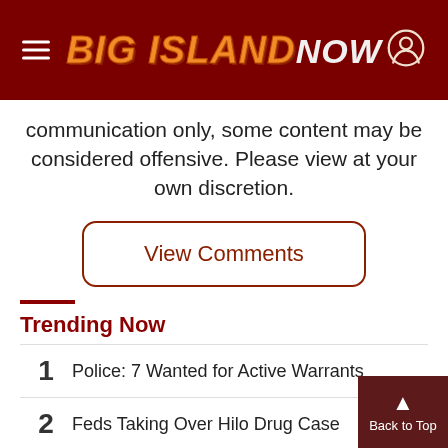BIG ISLAND NOW
communication only, some content may be considered offensive. Please view at your own discretion.
View Comments
Trending Now
1 Police: 7 Wanted for Active Warrants
2 Feds Taking Over Hilo Drug Case
3 All Dogs Found Let Loose Following Break-In a